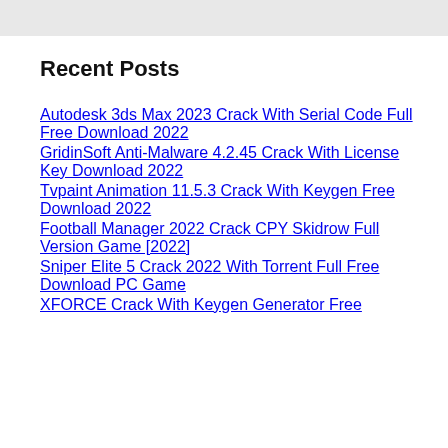Recent Posts
Autodesk 3ds Max 2023 Crack With Serial Code Full Free Download 2022
GridinSoft Anti-Malware 4.2.45 Crack With License Key Download 2022
Tvpaint Animation 11.5.3 Crack With Keygen Free Download 2022
Football Manager 2022 Crack CPY Skidrow Full Version Game [2022]
Sniper Elite 5 Crack 2022 With Torrent Full Free Download PC Game
XFORCE Crack With Keygen Generator Free